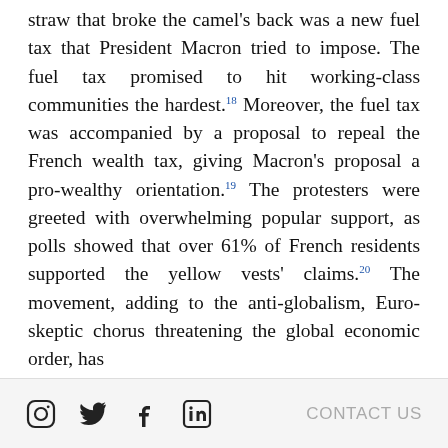straw that broke the camel's back was a new fuel tax that President Macron tried to impose. The fuel tax promised to hit working-class communities the hardest.[18] Moreover, the fuel tax was accompanied by a proposal to repeal the French wealth tax, giving Macron's proposal a pro-wealthy orientation.[19] The protesters were greeted with overwhelming popular support, as polls showed that over 61% of French residents supported the yellow vests' claims.[20] The movement, adding to the anti-globalism, Euro-skeptic chorus threatening the global economic order, has
CONTACT US